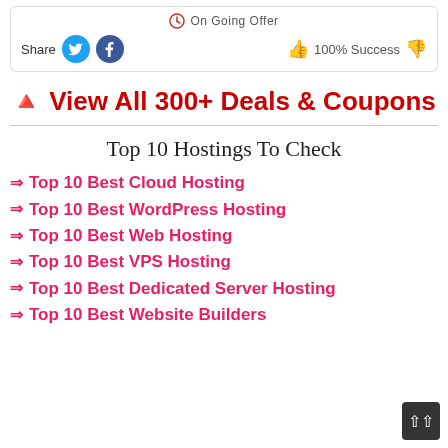On Going Offer
Share  100% Success
🔖 View All 300+ Deals & Coupons
Top 10 Hostings To Check
⇒ Top 10 Best Cloud Hosting
⇒ Top 10 Best WordPress Hosting
⇒ Top 10 Best Web Hosting
⇒ Top 10 Best VPS Hosting
⇒ Top 10 Best Dedicated Server Hosting
⇒ Top 10 Best Website Builders